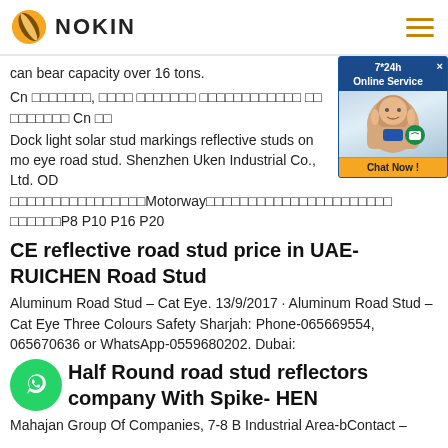NOKIN
can bear capacity over 16 tons.
Cn □□□□□□□, □□□□ □□□□□□□ □□□□□□□□□□□□ □□ □□□□□□□ Cn □□
Dock light solar stud markings reflective studs on mo eye road stud. Shenzhen Uken Industrial Co., Ltd. OD □□□□□□□□□□□□□□□□Motorway□□□□□□□□□□□□□□□□□□□□□□ □□□□□□P8 P10 P16 P20
CE reflective road stud price in UAE- RUICHEN Road Stud
Aluminum Road Stud – Cat Eye. 13/9/2017 · Aluminum Road Stud – Cat Eye Three Colours Safety Sharjah: Phone-065669554, 065670636 or WhatsApp-0559680202. Dubai:
Half Round road stud reflectors company With Spike- HEN
Mahajan Group Of Companies, 7-8 B Industrial Area-bContact –